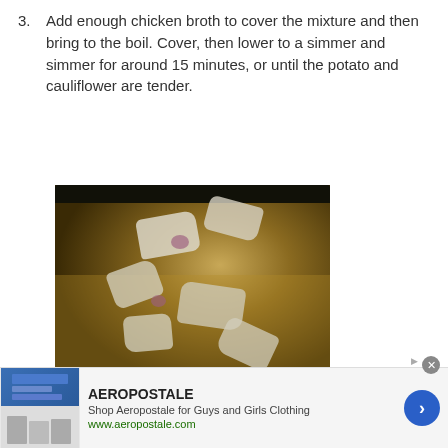3. Add enough chicken broth to cover the mixture and then bring to the boil. Cover, then lower to a simmer and simmer for around 15 minutes, or until the potato and cauliflower are tender.
[Figure (photo): Photo of a pot containing cauliflower florets, potato chunks, onion pieces, and chicken broth simmering together in a dark pan.]
AEROPOSTALE Shop Aeropostale for Guys and Girls Clothing www.aeropostale.com